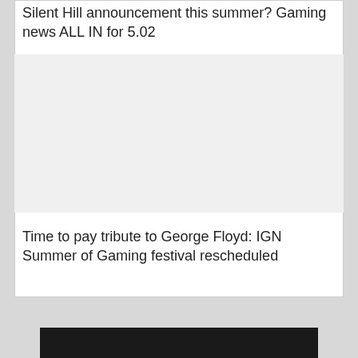Silent Hill announcement this summer? Gaming news ALL IN for 5.02
[Figure (photo): Blank white image placeholder area]
Time to pay tribute to George Floyd: IGN Summer of Gaming festival rescheduled
[Figure (photo): Dark bar at bottom of page, partial view of lower content]